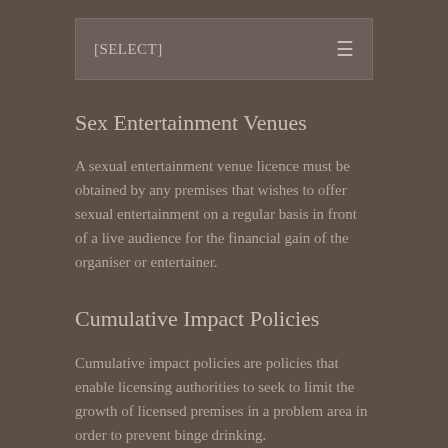[SELECT]
Sex Entertainment Venues
A sexual entertainment venue licence must be obtained by any premises that wishes to offer sexual entertainment on a regular basis in front of a live audience for the financial gain of the organiser or entertainer.
Cumulative Impact Policies
Cumulative impact policies are policies that enable licensing authorities to seek to limit the growth of licensed premises in a problem area in order to prevent binge drinking.